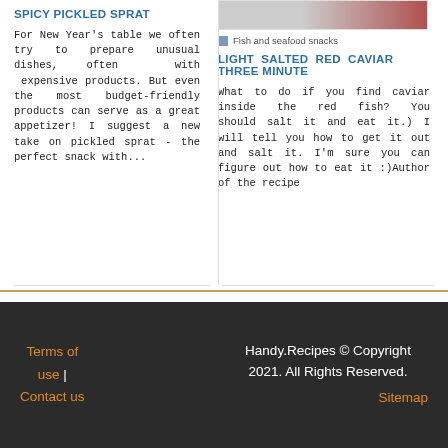SPICY PICKLED SPRAT
For New Year's table we often try to prepare unusual dishes, often with expensive products. But even the most budget-friendly products can serve as a great appetizer! I suggest a new take on pickled sprat - the perfect snack with...
[Figure (photo): Partial image of fish and seafood snacks with category tag 'Fish and seafood snacks']
LIGHT SALTED RED CAVIAR THREE MINUTE
What to do if you find caviar inside the red fish? You should salt it and eat it.) I will tell you how to get it out and salt it. I'm sure you can figure out how to eat it :)Author of the recipe
Terms of use | Contact us    Handy.Recipes © Copyright 2021. All Rights Reserved.    Sitemap